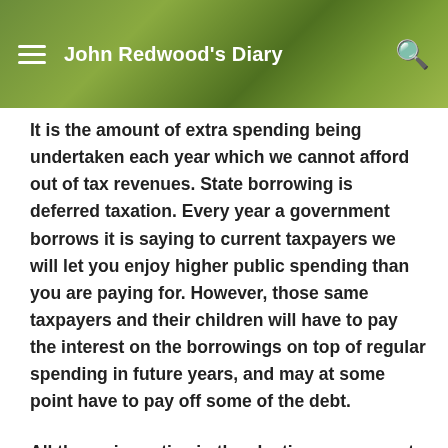John Redwood's Diary
It is the amount of extra spending being undertaken each year which we cannot afford out of tax revenues. State borrowing is deferred taxation. Every year a government borrows it is saying to current taxpayers we will let you enjoy higher public spending than you are paying for. However, those same taxpayers and their children will have to pay the interest on the borrowings on top of regular spending in future years, and may at some point have to pay off some of the debt.
All the main parties in the election now accept the need to reduce the deficit. Labour says we only need to eliminate the deficit for current spending, and can carry on borrowing lesser amounts for investment or capital